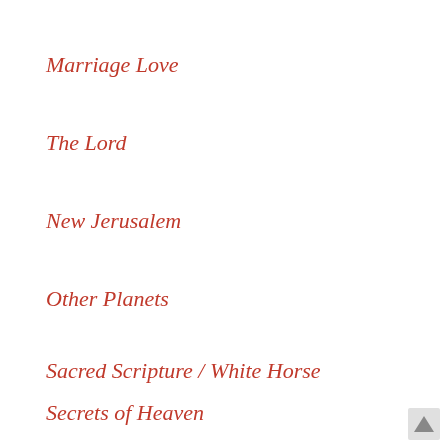Marriage Love
The Lord
New Jerusalem
Other Planets
Sacred Scripture / White Horse
Secrets of Heaven